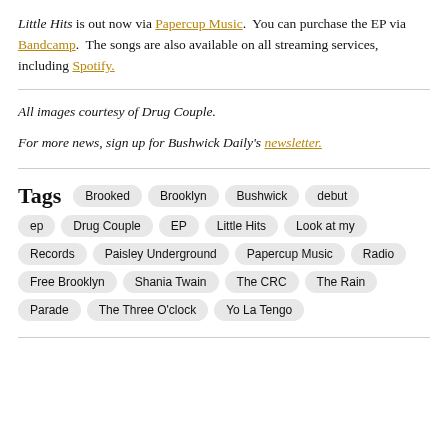Little Hits is out now via Papercup Music. You can purchase the EP via Bandcamp. The songs are also available on all streaming services, including Spotify.
All images courtesy of Drug Couple.
For more news, sign up for Bushwick Daily's newsletter.
Tags: Brooked, Brooklyn, Bushwick, debut ep, Drug Couple, EP, Little Hits, Look at my Records, Paisley Underground, Papercup Music, Radio Free Brooklyn, Shania Twain, The CRC, The Rain Parade, The Three O'clock, Yo La Tengo